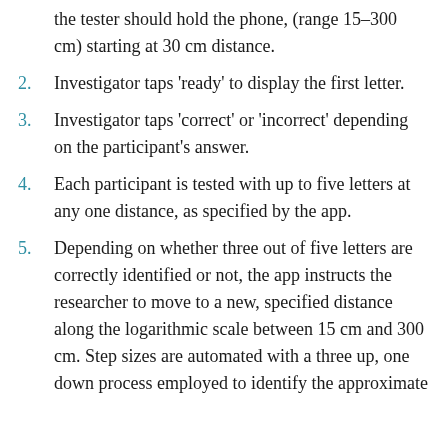the tester should hold the phone, (range 15–300 cm) starting at 30 cm distance.
2. Investigator taps 'ready' to display the first letter.
3. Investigator taps 'correct' or 'incorrect' depending on the participant's answer.
4. Each participant is tested with up to five letters at any one distance, as specified by the app.
5. Depending on whether three out of five letters are correctly identified or not, the app instructs the researcher to move to a new, specified distance along the logarithmic scale between 15 cm and 300 cm. Step sizes are automated with a three up, one down process employed to identify the approximate